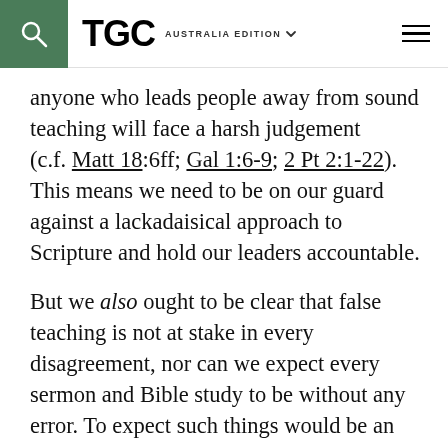TGC AUSTRALIA EDITION
anyone who leads people away from sound teaching will face a harsh judgement (c.f. Matt 18:6ff; Gal 1:6-9; 2 Pt 2:1-22). This means we need to be on our guard against a lackadaisical approach to Scripture and hold our leaders accountable.
But we also ought to be clear that false teaching is not at stake in every disagreement, nor can we expect every sermon and Bible study to be without any error. To expect such things would be an over-realised eschatology. What is expected is a settled position of teaching that is faithful to